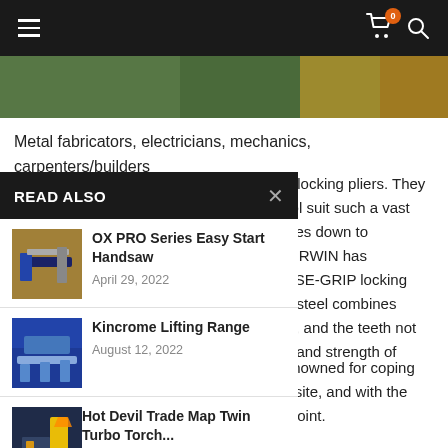Navigation bar with hamburger menu, cart icon (badge: 0), and search icon
[Figure (photo): Partial hero image strip showing green and golden tones]
Metal fabricators, electricians, mechanics, carpenters/builders
gh-quality locking pliers. They a hand tool suit such a vast ils? It comes down to e team at IRWIN has ne new VISE-GRIP locking ated alloy steel combines t durability, and the teeth not he quality and strength of
READ ALSO
OX PRO Series Easy Start Handsaw
April 29, 2022
Kincrome Lifting Range
August 12, 2022
Hot Devil Trade Map Twin Turbo Torch...
June 13, 2022
ers are renowned for coping ssie work site, and with the not disappoint.